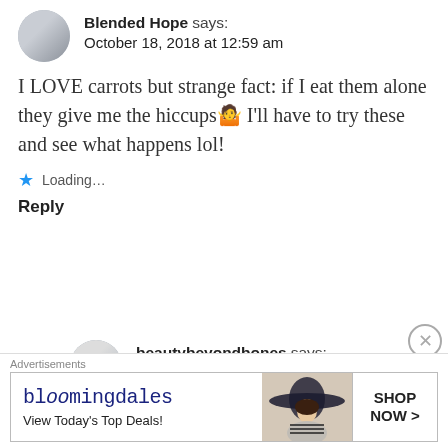Blended Hope says: October 18, 2018 at 12:59 am
I LOVE carrots but strange fact: if I eat them alone they give me the hiccups🤷 I'll have to try these and see what happens lol!
Loading...
Reply
beautybeyondbones says: October 18, 2018 at 9:12 am
OH MY GOSH ME TOO!!!! holy
[Figure (other): Bloomingdales advertisement banner with logo, tagline 'View Today's Top Deals!', image of woman with large hat, and SHOP NOW button]